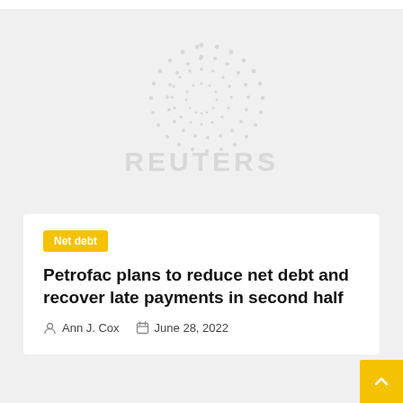[Figure (logo): Reuters logo watermark — circular dot pattern above the REUTERS wordmark with registered trademark symbol, rendered in light gray]
Net debt
Petrofac plans to reduce net debt and recover late payments in second half
Ann J. Cox   June 28, 2022